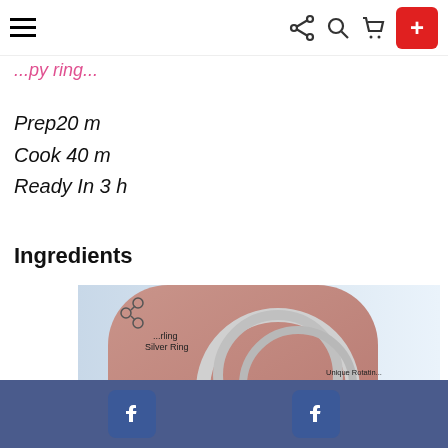Navigation bar with hamburger menu, share, search, cart icons and red plus button
...py ring...
Prep 20 m
Cook 40 m
Ready In 3 h
Ingredients
[Figure (photo): Advertisement showing a sterling silver rotating ring design with SALE text repeated four times on the right side]
Facebook share buttons footer